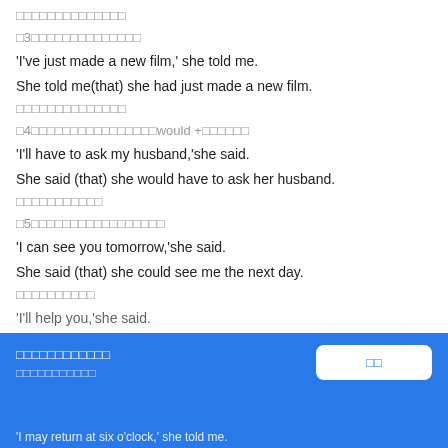□□□□□□□□□□□□□□
□3□□□□□□□□□□□□□□
'I've just made a new film,' she told me.
She told me(that) she had just made a new film.
□□□□□□□□□□□□□□
□4□□□□□□□□□□□□□□□□would +□□□□□□
'I'll have to ask my husband,'she said.
She said (that) she would have to ask her husband.
□□□□□□□□□□□
□5□□□□□□□□□□□□□□□□□
'I can see you tomorrow,'she said.
She said (that) she could see me the next day.
□□□□□□□□□□
'I'll help you,'she said.
□□□□□□□□□□□□
□□□□□□□□□□□
'I may return at six o'clock,' she told me.